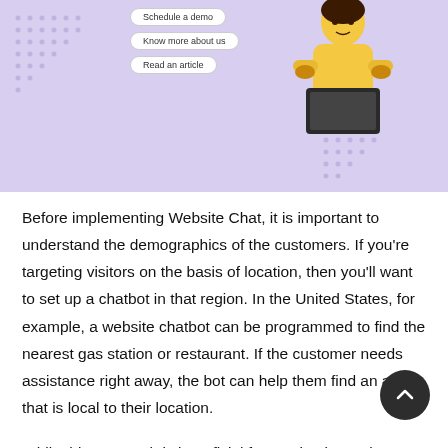[Figure (illustration): Purple/lavender background hero image showing a chatbot UI with three pill-shaped buttons (Schedule a demo, Know more about us, Read an article), a woman in a yellow top holding a laptop, and decorative dot patterns on the left and bottom-right.]
Before implementing Website Chat, it is important to understand the demographics of the customers. If you're targeting visitors on the basis of location, then you'll want to set up a chatbot in that region. In the United States, for example, a website chatbot can be programmed to find the nearest gas station or restaurant. If the customer needs assistance right away, the bot can help them find an agent that is local to their location.
While this approach is beneficial for any business, it should be done with caution. A website chatbot shouldn't be robot that makes one-word remarks to every person who visits the site. It should be more receptive to every user's